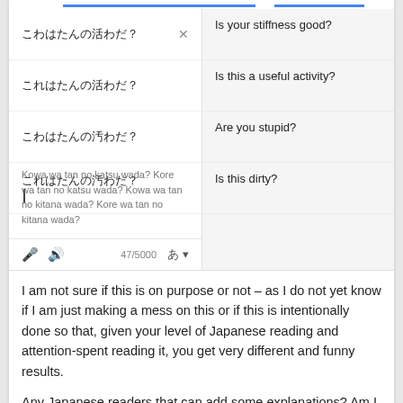[Figure (screenshot): Google Translate screenshot showing Japanese text on the left panel with English translations on the right panel. Left panel shows four Japanese phrases with romanized text and a toolbar. Right panel shows translations: 'Is your stiffness good?', 'Is this a useful activity?', 'Are you stupid?', 'Is this dirty?']
I am not sure if this is on purpose or not – as I do not yet know if I am just making a mess on this or if this is intentionally done so that, given your level of Japanese reading and attention-spent reading it, you get very different and funny results.
Any Japanese readers that can add some explanations? Am I far off with the thoughts?